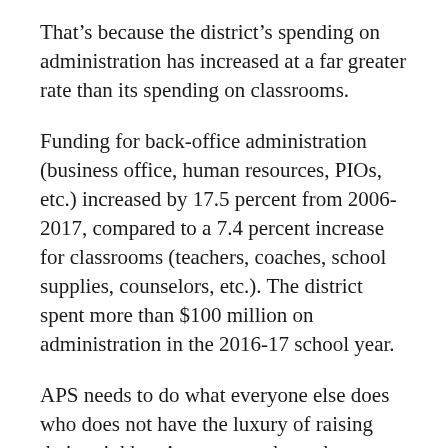That's because the district's spending on administration has increased at a far greater rate than its spending on classrooms.
Funding for back-office administration (business office, human resources, PIOs, etc.) increased by 17.5 percent from 2006-2017, compared to a 7.4 percent increase for classrooms (teachers, coaches, school supplies, counselors, etc.). The district spent more than $100 million on administration in the 2016-17 school year.
APS needs to do what everyone else does who does not have the luxury of raising their neighbors' taxes to make ends meet. And that's live within its means.
The Journal recommends a “For” vote on The Public School Capital Improvements Tax Question, which is